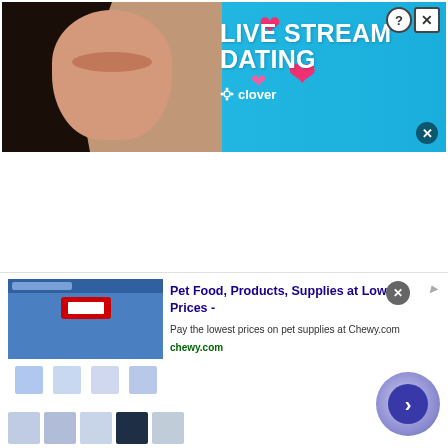[Figure (screenshot): Top banner advertisement for Clover dating app showing 'LIVE STREAM DATING' in large white text on a blue background, with a woman's photo on the left and pink hearts, along with help and close buttons in the top right corner and an X close button at the bottom right.]
[Figure (screenshot): Bottom banner advertisement for Chewy.com showing pet food products thumbnail on the left, bold blue text 'Pet Food, Products, Supplies at Low Prices -', description 'Pay the lowest prices on pet supplies at Chewy.com', URL 'chewy.com' in green, and a circular arrow navigation button on the right. Small product thumbnails shown at the bottom left.]